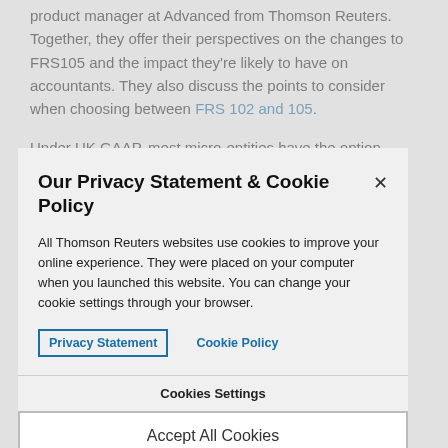product manager at Advanced from Thomson Reuters. Together, they offer their perspectives on the changes to FRS105 and the impact they're likely to have on accountants. They also discuss the points to consider when choosing between FRS 102 and 105.
Under UK GAAP, most micro-entities have the option
Our Privacy Statement & Cookie Policy
All Thomson Reuters websites use cookies to improve your online experience. They were placed on your computer when you launched this website. You can change your cookie settings through your browser.
Privacy Statement   Cookie Policy
Cookies Settings
Accept All Cookies